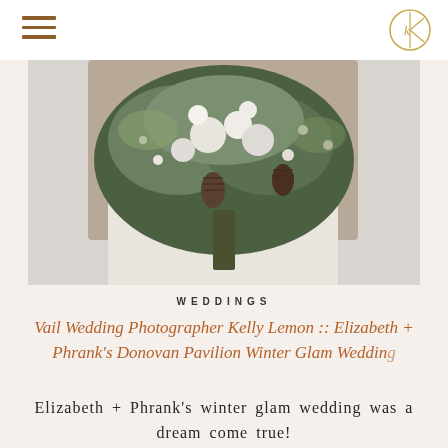navigation header with hamburger menu and logo
[Figure (photo): Close-up photo of a bride holding a winter floral bouquet with greenery, pine cones, cotton flowers, and white blooms against a light background]
WEDDINGS
Vail Wedding Photographer Kelly Lemon :: Elizabeth + Phrank's Donovan Pavilion Winter Glam Wedding
Elizabeth + Phrank's winter glam wedding was a dream come true!